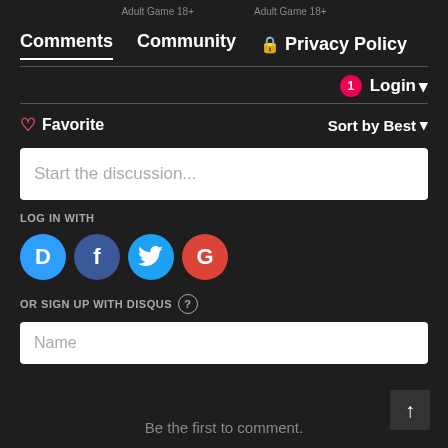Adult Game 18+    Adult Game 18+
Comments   Community   🔒 Privacy Policy
1  Login ▾
♡ Favorite     Sort by Best ▾
Start the discussion...
LOG IN WITH
[Figure (other): Social login icons: Disqus (D), Facebook (f), Twitter bird, Google (G)]
OR SIGN UP WITH DISQUS ?
Name
Be the first to comment.